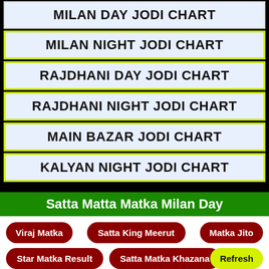MILAN DAY JODI CHART
MILAN NIGHT JODI CHART
RAJDHANI DAY JODI CHART
RAJDHANI NIGHT JODI CHART
MAIN BAZAR JODI CHART
KALYAN NIGHT JODI CHART
Satta Matta Matka Milan Day
Viraj Matka
Satta King Meerut
Matka Jito
Star Matka Result
Satta Matka Khazana
Refresh